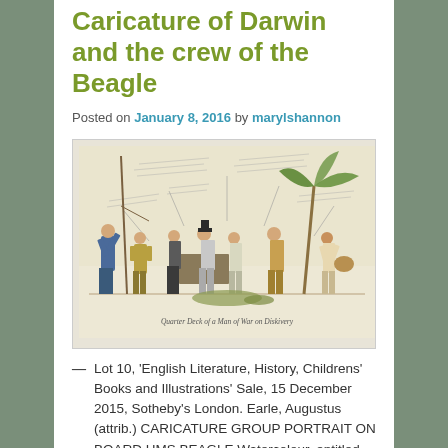Caricature of Darwin and the crew of the Beagle
Posted on January 8, 2016 by marylshannon
[Figure (illustration): A watercolour caricature group portrait showing multiple figures on a deck, with handwritten annotations around the scene. Title at bottom reads 'Quarter Deck of a Man of War on Diskivery'.]
Lot 10, ‘English Literature, History, Childrens’ Books and Illustrations’ Sale, 15 December 2015, Sotheby’s London. Earle, Augustus (attrib.) CARICATURE GROUP PORTRAIT ON BOARD HMS BEAGLE Watercolour, entitled “Quarter Deck of a Man of War on Diskivery [sic] or interesting Scenes on an Interesting